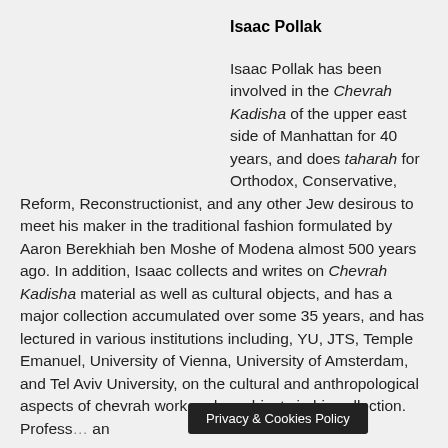Isaac Pollak
Isaac Pollak has been involved in the Chevrah Kadisha of the upper east side of Manhattan for 40 years, and does taharah for Orthodox, Conservative, Reform, Reconstructionist, and any other Jew desirous to meet his maker in the traditional fashion formulated by Aaron Berekhiah ben Moshe of Modena almost 500 years ago. In addition, Isaac collects and writes on Chevrah Kadisha material as well as cultural objects, and has a major collection accumulated over some 35 years, and has lectured in various institutions including, YU, JTS, Temple Emanuel, University of Vienna, University of Amsterdam, and Tel Aviv University, on the cultural and anthropological aspects of chevrah work and on objects in his collection. Profess… an
Privacy & Cookies Policy